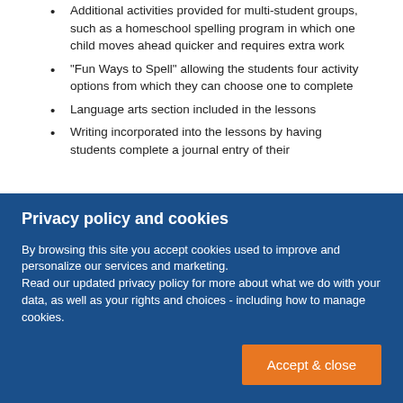Additional activities provided for multi-student groups, such as a homeschool spelling program in which one child moves ahead quicker and requires extra work
"Fun Ways to Spell" allowing the students four activity options from which they can choose one to complete
Language arts section included in the lessons
Writing incorporated into the lessons by having students complete a journal entry of their
Privacy policy and cookies
By browsing this site you accept cookies used to improve and personalize our services and marketing.
Read our updated privacy policy for more about what we do with your data, as well as your rights and choices - including how to manage cookies.